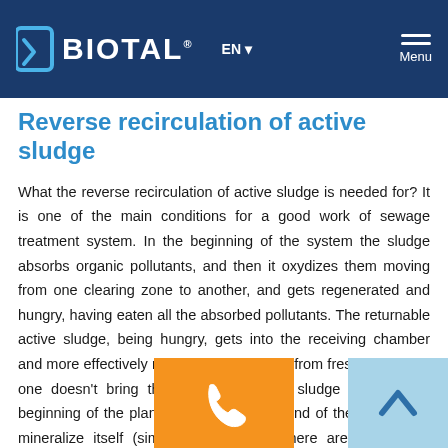BIOTAL EN Menu
Reverse recirculation of active sludge
What the reverse recirculation of active sludge is needed for? It is one of the main conditions for a good work of sewage treatment system. In the beginning of the system the sludge absorbs organic pollutants, and then it oxydizes them moving from one clearing zone to another, and gets regenerated and hungry, having eaten all the absorbed pollutants. The returnable active sludge, being hungry, gets into the receiving chamber and more effectively removes the pollution from fresh sewage. If one doesn't bring the returnable active sludge back to the beginning of the plant, the sludge in the end of the system will mineralize itself (simply die, because there are no organic substances for its nutrition), and at the beginning of the system the sludge will be overloaded and will not work effectively. The